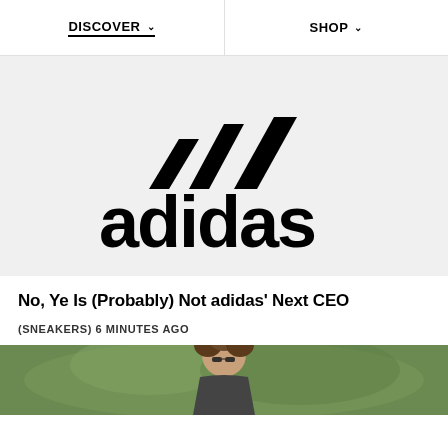DISCOVER   SHOP
[Figure (logo): Adidas logo — three diagonal stripes above the word 'adidas' in black on a light grey background]
No, Ye Is (Probably) Not adidas' Next CEO
(SNEAKERS) 6 MINUTES AGO
[Figure (photo): Person with curly hair wearing sunglasses, green blurred background]